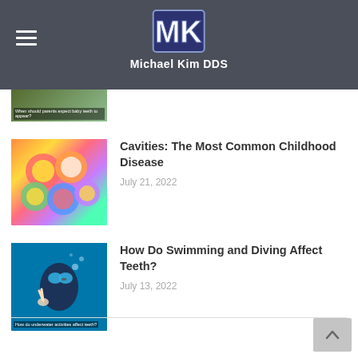Michael Kim DDS
[Figure (photo): Partial thumbnail of a previous blog post about baby teeth]
Cavities: The Most Common Childhood Disease
July 21, 2022
[Figure (photo): Colorful candy/citrus slices representing childhood cavities article]
How Do Swimming and Diving Affect Teeth?
July 13, 2022
[Figure (photo): Scuba diver underwater making peace sign]